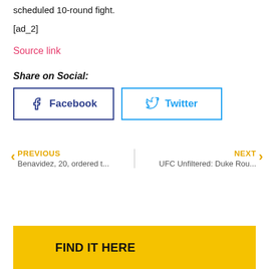scheduled 10-round fight.
[ad_2]
Source link
Share on Social:
[Figure (other): Facebook and Twitter share buttons]
PREVIOUS - Benavidez, 20, ordered t...
NEXT - UFC Unfiltered: Duke Rou...
FIND IT HERE